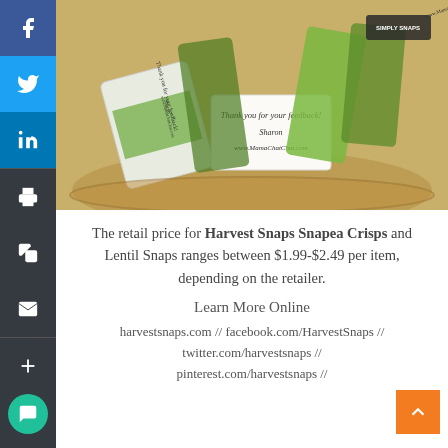[Figure (photo): Basket of Harvest Snaps Snapea Crisps snack packages with thank-you notes from Sharon at www.MamaChatChat.com]
The retail price for Harvest Snaps Snapea Crisps and Lentil Snaps ranges between $1.99-$2.49 per item, depending on the retailer.
Learn More Online
harvestsnaps.com // facebook.com/HarvestSnaps // twitter.com/harvestsnaps // pinterest.com/harvestsnaps //